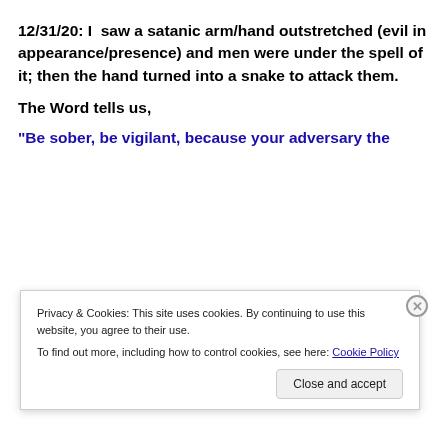12/31/20: I  saw a satanic arm/hand outstretched (evil in appearance/presence) and men were under the spell of it; then the hand turned into a snake to attack them.
The Word tells us,
“Be sober, be vigilant, because your adversary the
Privacy & Cookies: This site uses cookies. By continuing to use this website, you agree to their use.
To find out more, including how to control cookies, see here: Cookie Policy